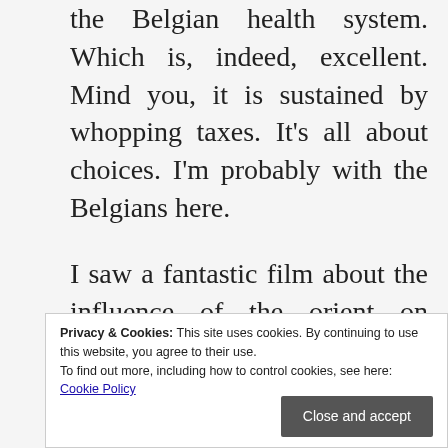the Belgian health system. Which is, indeed, excellent. Mind you, it is sustained by whopping taxes. It's all about choices. I'm probably with the Belgians here.
I saw a fantastic film about the influence of the orient on Venice. Do you know the French word espèces meaning cash? Well that's what it means, now you know. But did you know that it comes from épices, meaning spices; I didn't think so. And further that in the middle ages when you went to pay your bill, people asked whether you would be paying in cash or spices? Venice had a monopoly on spices and were they rolling in it. There's a pun there
Privacy & Cookies: This site uses cookies. By continuing to use this website, you agree to their use. To find out more, including how to control cookies, see here: Cookie Policy